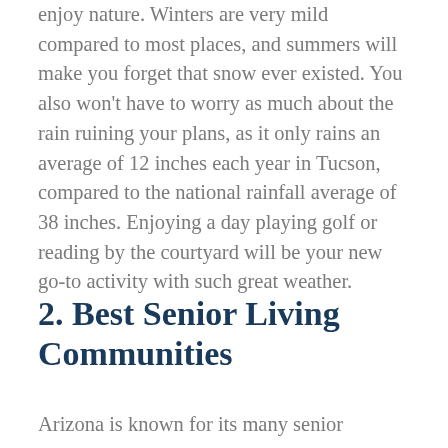every opportunity to get outside and enjoy nature. Winters are very mild compared to most places, and summers will make you forget that snow ever existed. You also won't have to worry as much about the rain ruining your plans, as it only rains an average of 12 inches each year in Tucson, compared to the national rainfall average of 38 inches. Enjoying a day playing golf or reading by the courtyard will be your new go-to activity with such great weather.
2. Best Senior Living Communities
Arizona is known for its many senior